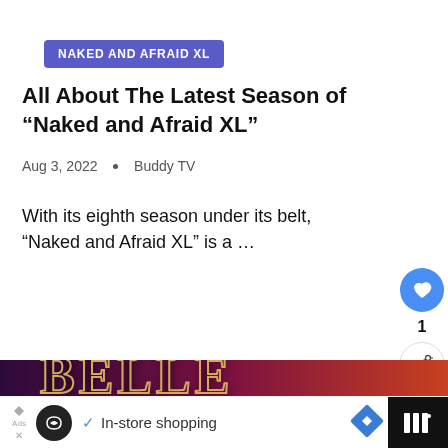NAKED AND AFRAID XL
All About The Latest Season of “Naked and Afraid XL”
Aug 3, 2022  •  Buddy TV
With its eighth season under its belt, “Naked and Afraid XL” is a …
[Figure (photo): Promotional image showing 'BELLE COLLECTIVE' text on a dark purple-to-red gradient background, with a 'What's Next' overlay showing Buddy TV logo and 'Big Brother 14 Spoilers:...' text]
In-store shopping